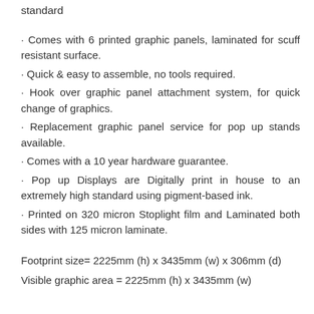standard
Comes with 6 printed graphic panels, laminated for scuff resistant surface.
Quick & easy to assemble, no tools required.
Hook over graphic panel attachment system, for quick change of graphics.
Replacement graphic panel service for pop up stands available.
Comes with a 10 year hardware guarantee.
Pop up Displays are Digitally print in house to an extremely high standard using pigment-based ink.
Printed on 320 micron Stoplight film and Laminated both sides with 125 micron laminate.
Footprint size= 2225mm (h) x 3435mm (w) x 306mm (d)
Visible graphic area = 2225mm (h) x 3435mm (w)